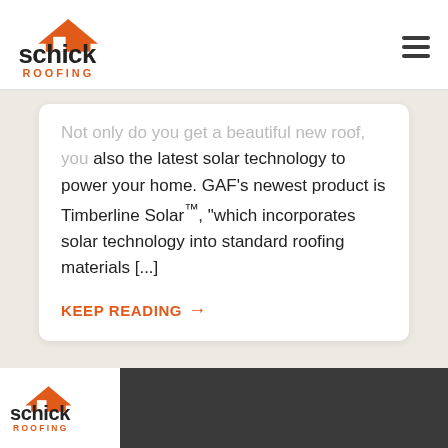Schick Roofing [logo] [hamburger menu]
Not only do you get a beautiful new roof, you also the latest solar technology to power your home. GAF’s newest product is Timberline Solar™, “which incorporates solar technology into standard roofing materials [...]
KEEP READING →
[Figure (logo): Schick Roofing logo in footer]